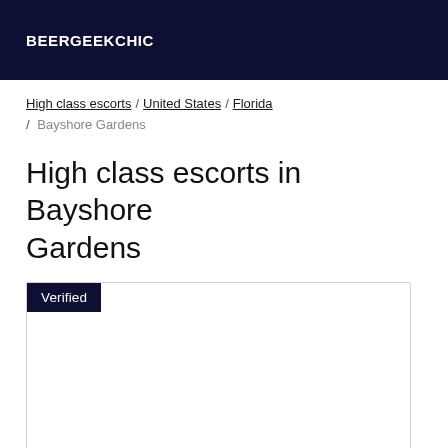BEERGEEKCHIC
High class escorts / United States / Florida / Bayshore Gardens
High class escorts in Bayshore Gardens
[Figure (other): A listing card with a 'Verified' badge in the top-left corner, mostly white/blank content area, bordered with a thin gray border.]